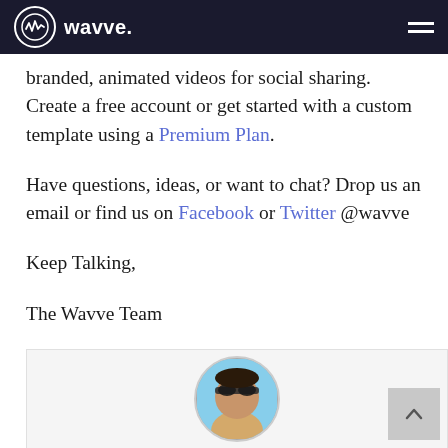wavve.
branded, animated videos for social sharing. Create a free account or get started with a custom template using a Premium Plan.
Have questions, ideas, or want to chat? Drop us an email or find us on Facebook or Twitter @wavve
Keep Talking,
The Wavve Team
[Figure (photo): Circular profile photo of a person wearing sunglasses, partially visible at the bottom of the page inside a light gray card.]